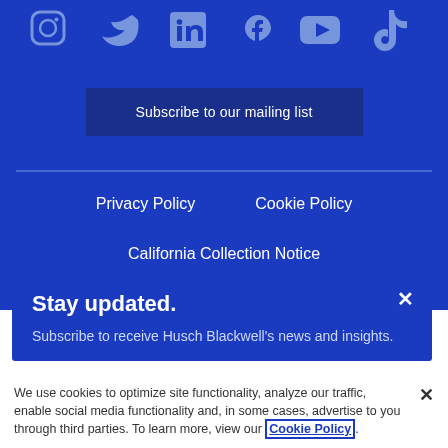[Figure (illustration): Social media icons row: Instagram, Twitter, LinkedIn, Facebook, YouTube, TikTok — rendered in light blue on blue background]
Subscribe to our mailing list
Privacy Policy   Cookie Policy
California Collection Notice
Stay updated.
Subscribe to receive Husch Blackwell's news and insights.
We use cookies to optimize site functionality, analyze our traffic, enable social media functionality and, in some cases, advertise to you through third parties. To learn more, view our Cookie Policy.